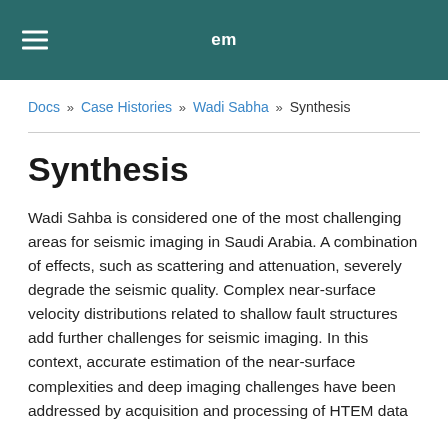em
Docs » Case Histories » Wadi Sabha » Synthesis
Synthesis
Wadi Sahba is considered one of the most challenging areas for seismic imaging in Saudi Arabia. A combination of effects, such as scattering and attenuation, severely degrade the seismic quality. Complex near-surface velocity distributions related to shallow fault structures add further challenges for seismic imaging. In this context, accurate estimation of the near-surface complexities and deep imaging challenges have been addressed by acquisition and processing of HTEM data